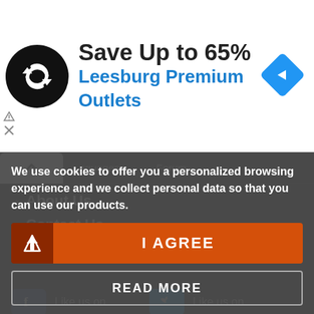[Figure (screenshot): Advertisement banner with black circular logo with looping arrows icon, large text 'Save Up to 65%' and blue text 'Leesburg Premium Outlets', and a blue navigation diamond arrow icon on the right. Small play and X icons on the left edge.]
languages
Forum
About Us
Contact Us
Promote
[Figure (screenshot): Facebook and Twitter social buttons with 'Like us on' text]
We use cookies to offer you a personalized browsing experience and we collect personal data so that you can use our products.
I AGREE
READ MORE